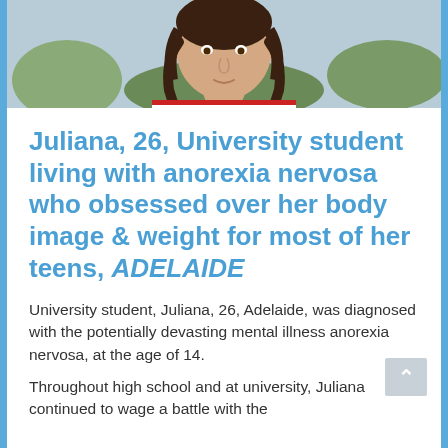[Figure (photo): Photo of Juliana, a young woman with braided hair wearing a red, white and blue striped top, shown from the shoulders up outdoors.]
Juliana, 26, University student living with anorexia nervosa who obsessed over her body image & weight for most of her teens, ADELAIDE
University student, Juliana, 26, Adelaide, was diagnosed with the potentially devasting mental illness anorexia nervosa, at the age of 14.
Throughout high school and at university, Juliana continued to wage a battle with the